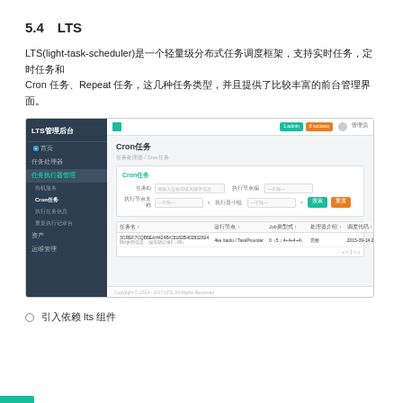5.4　LTS
LTS(light-task-scheduler)是一个轻量级分布式任务调度框架，支持实时任务，定时任务和Cron任务，Repeat任务，这几种任务类型，并且提供了比较丰富的前台管理界面。
[Figure (screenshot): LTS管理后台截图，展示Cron任务管理界面，包含左侧导航栏和右侧任务列表及搜索过滤功能]
引入依赖 lts 组件